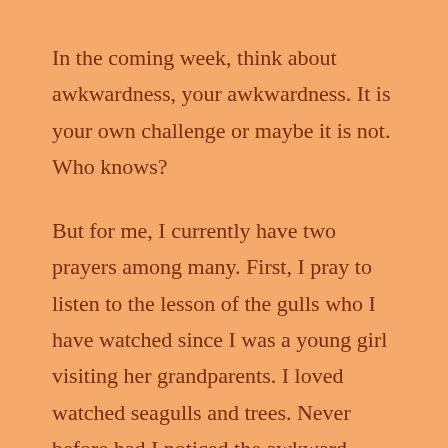In the coming week, think about awkwardness, your awkwardness. It is your own challenge or maybe it is not. Who knows?
But for me, I currently have two prayers among many. First, I pray to listen to the lesson of the gulls who I have watched since I was a young girl visiting her grandparents. I loved watched seagulls and trees. Never before had I noticed the awkward beginning of flight.